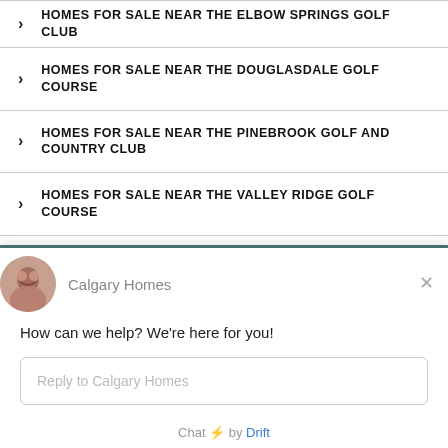HOMES FOR SALE NEAR THE ELBOW SPRINGS GOLF CLUB
HOMES FOR SALE NEAR THE DOUGLASDALE GOLF COURSE
HOMES FOR SALE NEAR THE PINEBROOK GOLF AND COUNTRY CLUB
HOMES FOR SALE NEAR THE VALLEY RIDGE GOLF COURSE
HOMES FOR SALE NEAR THE HEATHERGLEN GOLF COURSE
HOMES FOR SALE NEAR THE LYNX RIDGE GOLF CLUB
[Figure (screenshot): Chat widget popup from Calgary Homes with avatar, greeting message 'How can we help? We're here for you!', reply input field, and 'Chat by Drift' footer.]